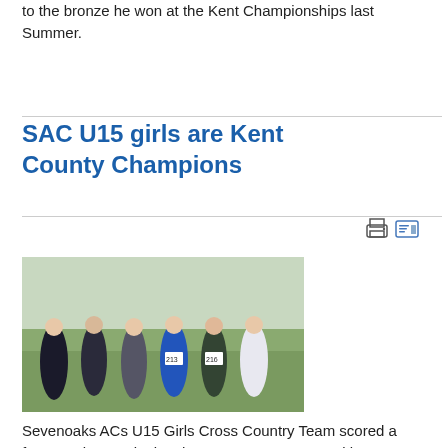to the bronze he won at the Kent Championships last Summer.
SAC U15 girls are Kent County Champions
[Figure (photo): Group photo of six teenage girls in athletic/cross-country running gear posing together on a grassy field. Two girls wear race bibs numbered 213 and 216. Background shows open countryside.]
Sevenoaks ACs U15 Girls Cross Country Team scored a famous victory winning the Kent Cross Country title on Saturday 8th January at Brands Hatch, writes Head